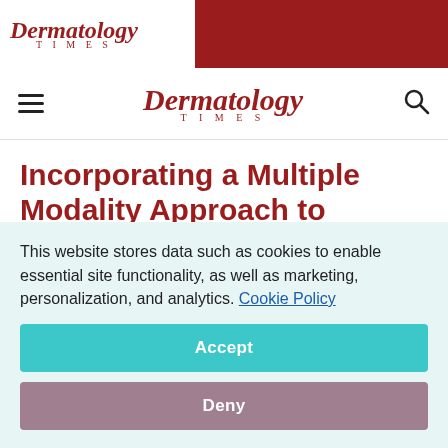Dermatology Times
Dermatology Times
Incorporating a Multiple Modality Approach to Achieve Optimal Results
May 21, 2020
This website stores data such as cookies to enable essential site functionality, as well as marketing, personalization, and analytics. Cookie Policy
Accept
Deny